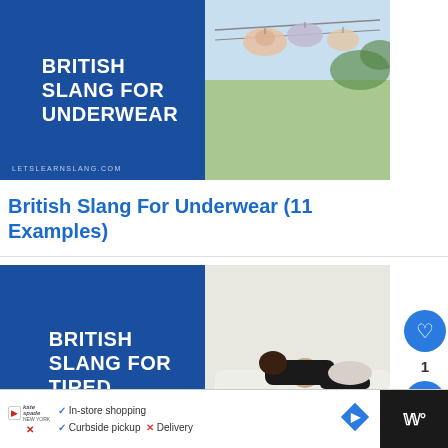[Figure (illustration): Blog post thumbnail: 'BRITISH SLANG FOR UNDERWEAR' text on blue background with photo of bras/underwear hanging on a clothesline. Watermark: LETSLEARNSLANG.COM]
British Slang For Underwear (11 Examples)
[Figure (illustration): Blog post thumbnail: 'BRITISH SLANG FOR TIRED' text on blue background with photo of person lying exhausted on a white sofa. Watermark: LETSLEARNSLANG.COM]
British Slang For Tired (7 Examples)
[Figure (other): Advertisement bar at bottom: Kate Spade logo with 'In-store shopping', 'Curbside pickup', 'X Delivery' checkmarks, navigation diamond icon, and dark right panel with W icon]